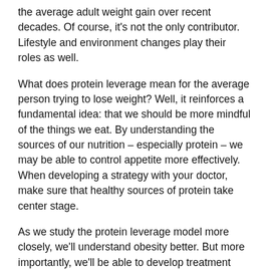the average adult weight gain over recent decades. Of course, it's not the only contributor. Lifestyle and environment changes play their roles as well.
What does protein leverage mean for the average person trying to lose weight? Well, it reinforces a fundamental idea: that we should be more mindful of the things we eat. By understanding the sources of our nutrition – especially protein – we may be able to control appetite more effectively. When developing a strategy with your doctor, make sure that healthy sources of protein take center stage.
As we study the protein leverage model more closely, we'll understand obesity better. But more importantly, we'll be able to develop treatment plans that work with our bodies' natural priorities. By listening to what our bodies tell us, the road to weight loss can be just a little bit easier.